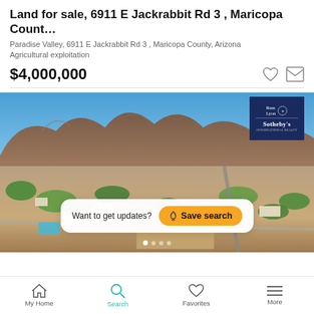Land for sale, 6911 E Jackrabbit Rd 3 , Maricopa Count…
Paradise Valley, 6911 E Jackrabbit Rd 3 , Maricopa County, Arizona
Agricultural exploitation
$4,000,000
[Figure (photo): Aerial view of Paradise Valley, Arizona with rocky mountain in background, suburban homes and roads visible, Russ Lyon Sotheby's International Realty badge in upper right]
Want to get updates?  Save search
My Home   Search   Favorites   More